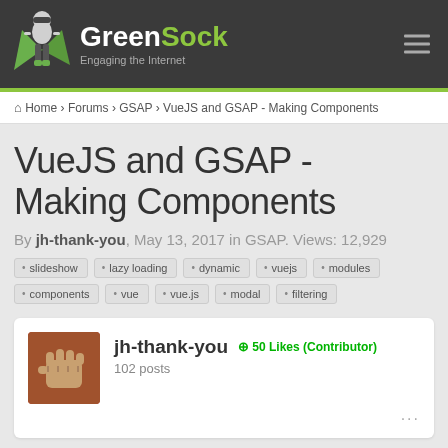GreenSock - Engaging the Internet
Home > Forums > GSAP > VueJS and GSAP - Making Components
VueJS and GSAP - Making Components
By jh-thank-you, May 13, 2017 in GSAP. Views: 12,929
slideshow
lazy loading
dynamic
vuejs
modules
components
vue
vue.js
modal
filtering
jh-thank-you  50 Likes (Contributor)
102 posts